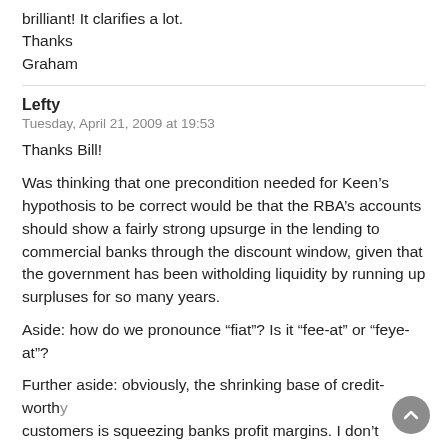brilliant! It clarifies a lot.
Thanks
Graham
Lefty
Tuesday, April 21, 2009 at 19:53
Thanks Bill!
Was thinking that one precondition needed for Keen’s hypothosis to be correct would be that the RBA’s accounts should show a fairly strong upsurge in the lending to commercial banks through the discount window, given that the government has been witholding liquidity by running up surpluses for so many years.
Aside: how do we pronounce “fiat”? Is it “fee-at” or “feye-at”?
Further aside: obviously, the shrinking base of credit-worthy customers is squeezing banks profit margins. I don’t